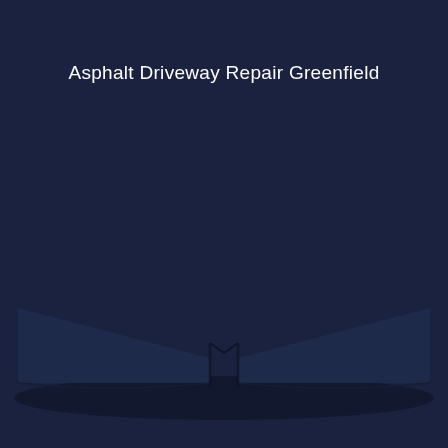Asphalt Driveway Repair Greenfield
[Figure (illustration): Dark navy blue background with an open book or driveway V-shape graphic rendered in slightly lighter navy shades at the bottom center of the image, creating a subtle 3D shadow effect.]